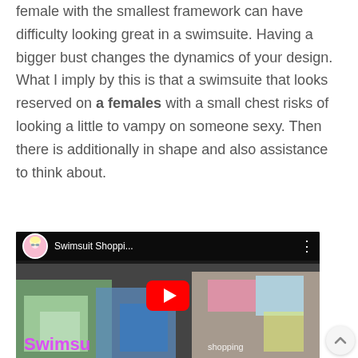female with the smallest framework can have difficulty looking great in a swimsuite. Having a bigger bust changes the dynamics of your design. What I imply by this is that a swimsuite that looks reserved on a females with a small chest risks of looking a little to vampy on someone sexy. Then there is additionally in shape and also assistance to think about.
[Figure (screenshot): YouTube video thumbnail for 'Swimsuit Shoppi...' showing a shopping scene with colorful swimsuits, a YouTube play button overlay, and a channel avatar of a blonde woman.]